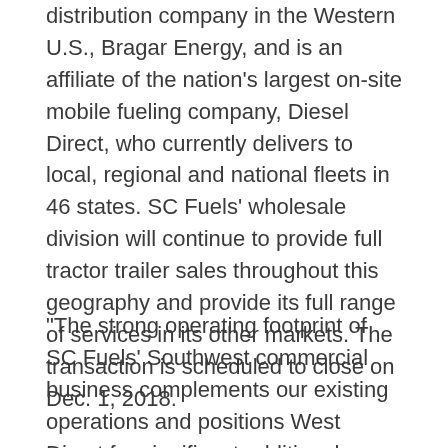distribution company in the Western U.S., Bragar Energy, and is an affiliate of the nation's largest on-site mobile fueling company, Diesel Direct, who currently delivers to local, regional and national fleets in 46 states. SC Fuels' wholesale division will continue to provide full tractor trailer sales throughout this geography and provide its full range of services in its other markets. The transaction is scheduled to close on Dec. 1, 2018.
"The strong operating footprint of SC Fuels' Southwest commercial business complements our existing operations and positions West Direct for significant additional growth in the region," stated William McNamara, CEO of West Direct. "We are continually looking to acquire leading businesses